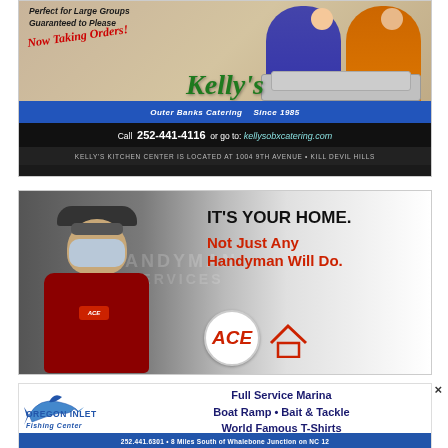[Figure (photo): Kelly's Outer Banks Catering advertisement. Shows two people (woman in blue, man in orange) holding catering trays. Text: 'Perfect for Large Groups Guaranteed to Please', 'Now Taking Orders!', Kelly's logo, 'Outer Banks Catering Since 1985', 'Call 252-441-4116 or go to: kellysobxcatering.com', 'KELLY'S KITCHEN CENTER IS LOCATED AT 1004 9TH AVENUE • KILL DEVIL HILLS']
[Figure (photo): ACE Hardware Handyman Services advertisement. Shows a person in a red ACE Hardware shirt wearing a mask and cap, standing in front of a white van. Text: 'IT'S YOUR HOME. Not Just Any Handyman Will Do.' with ACE Hardware logo.]
[Figure (photo): Oregon Inlet Fishing Center advertisement. Shows marlin logo with text: 'OREGON INLET Fishing Center', 'Full Service Marina Boat Ramp • Bait & Tackle World Famous T-Shirts', '252.441.6301 • 8 Miles South of Whalebone Junction on NC 12']